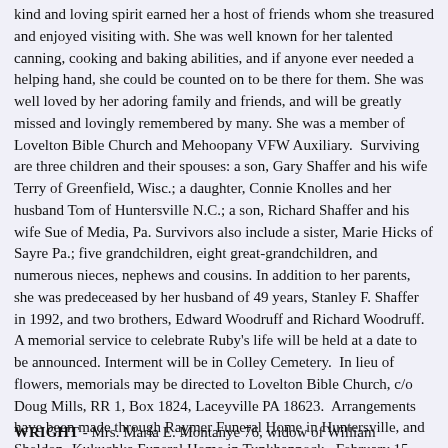kind and loving spirit earned her a host of friends whom she treasured and enjoyed visiting with. She was well known for her talented canning, cooking and baking abilities, and if anyone ever needed a helping hand, she could be counted on to be there for them. She was well loved by her adoring family and friends, and will be greatly missed and lovingly remembered by many. She was a member of Lovelton Bible Church and Mehoopany VFW Auxiliary.  Surviving are three children and their spouses: a son, Gary Shaffer and his wife Terry of Greenfield, Wisc.; a daughter, Connie Knolles and her husband Tom of Huntersville N.C.; a son, Richard Shaffer and his wife Sue of Media, Pa. Survivors also include a sister, Marie Hicks of Sayre Pa.; five grandchildren, eight great-grandchildren, and numerous nieces, nephews and cousins. In addition to her parents, she was predeceased by her husband of 49 years, Stanley F. Shaffer in 1992, and two brothers, Edward Woodruff and Richard Woodruff.  A memorial service to celebrate Ruby's life will be held at a date to be announced. Interment will be in Colley Cemetery.  In lieu of flowers, memorials may be directed to Lovelton Bible Church, c/o Doug Mills, RR 1, Box 1824, Laceyville PA 18623.  Arrangements have been made through Raymer Funeral Home in Huntersville, and Sheldon-Kukuchka Funeral Home in Tunkhannock.  February 15, 2010, Towanda Daily Review.
WRIGHT - Mrs. Maria E. Montanye 76, widow of William